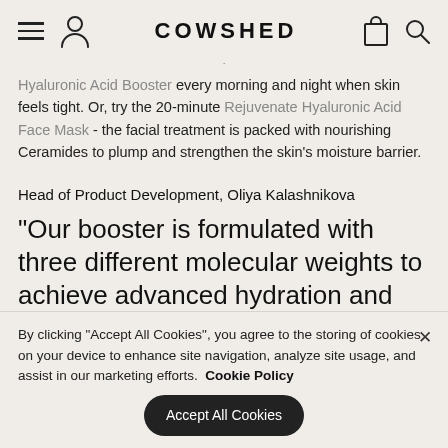COWSHED
Hyaluronic Acid Booster every morning and night when skin feels tight. Or, try the 20-minute Rejuvenate Hyaluronic Acid Face Mask - the facial treatment is packed with nourishing Ceramides to plump and strengthen the skin's moisture barrier.
Head of Product Development, Oliya Kalashnikova
“Our booster is formulated with three different molecular weights to achieve advanced hydration and improve skin
By clicking “Accept All Cookies”, you agree to the storing of cookies on your device to enhance site navigation, analyze site usage, and assist in our marketing efforts. Cookie Policy